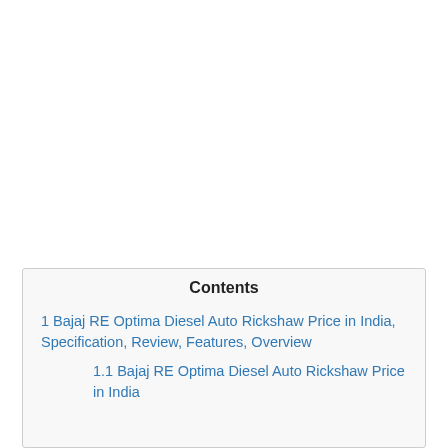Contents
1 Bajaj RE Optima Diesel Auto Rickshaw Price in India, Specification, Review, Features, Overview
1.1 Bajaj RE Optima Diesel Auto Rickshaw Price in India